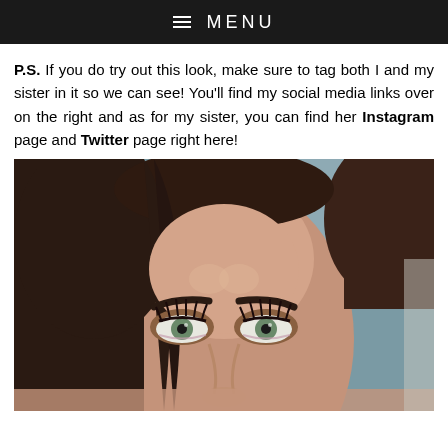≡ MENU
P.S. If you do try out this look, make sure to tag both I and my sister in it so we can see! You'll find my social media links over on the right and as for my sister, you can find her Instagram page and Twitter page right here!
[Figure (photo): Close-up photo of a young woman with long brown hair showing her eyes with makeup — eyeshadow and mascara visible, looking upward, against a gray background.]